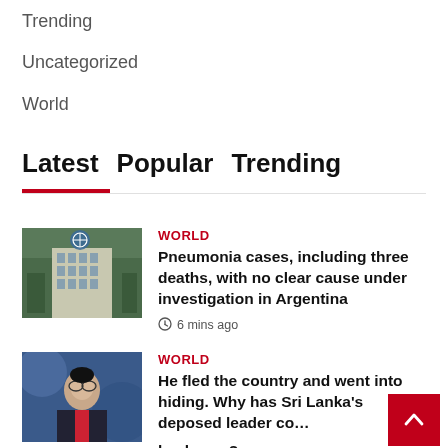Trending
Uncategorized
World
Latest  Popular  Trending
World
Pneumonia cases, including three deaths, with no clear cause under investigation in Argentina
6 mins ago
World
He fled the country and went into hiding. Why has Sri Lanka’s deposed leader come back now?
1 hour ago